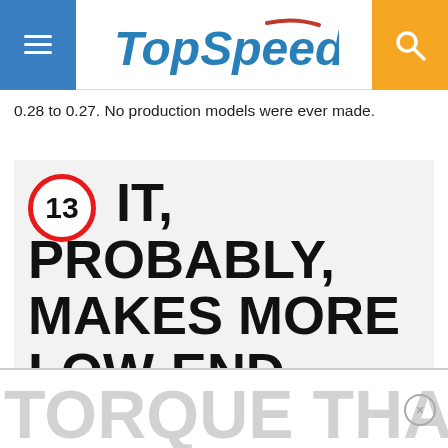[Figure (logo): TopSpeed website header with blue hamburger menu button on left, TopSpeed logo in center, and orange search button on right]
0.28 to 0.27. No production models were ever made.
13 IT, PROBABLY, MAKES MORE LOW-END
TORQUE THAN